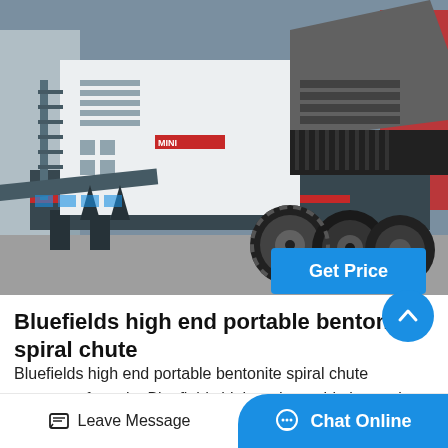[Figure (photo): Large mobile crushing machine on a truck chassis, white and dark grey/black body, in an industrial yard setting. The machine has conveyor belts, a jaw crusher, and large wheels. Partial red banner visible at far right background.]
Get Price
Bluefields high end portable bentonite spiral chute
Bluefields high end portable bentonite spiral chute separator for sale; Bluefields high end portable bentonite spiral chute separator
Leave Message   Chat Online